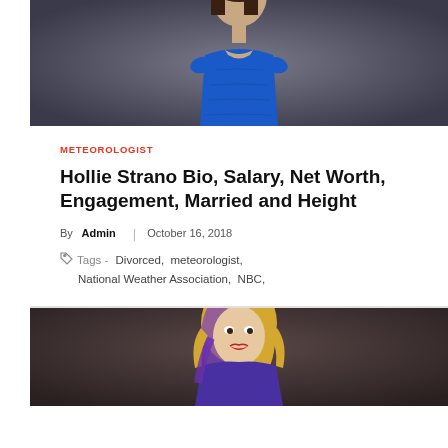[Figure (photo): Woman in blue dress on dark background, cropped to upper body]
METEOROLOGIST
Hollie Strano Bio, Salary, Net Worth, Engagement, Married and Height
By Admin | October 16, 2018
Tags - Divorced, meteorologist, National Weather Association, NBC,
[Figure (photo): Blonde woman with purple streaks on dark background, cropped to upper body]